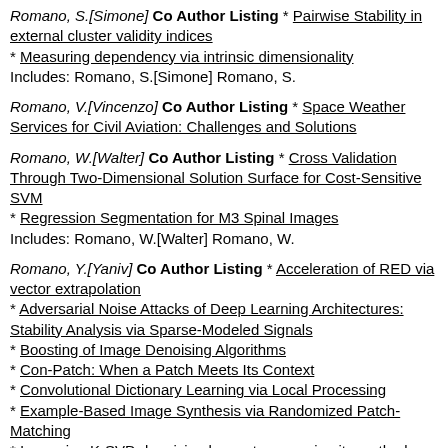Romano, S.[Simone] Co Author Listing * Pairwise Stability in external cluster validity indices
* Measuring dependency via intrinsic dimensionality
Includes: Romano, S.[Simone] Romano, S.
Romano, V.[Vincenzo] Co Author Listing * Space Weather Services for Civil Aviation: Challenges and Solutions
Romano, W.[Walter] Co Author Listing * Cross Validation Through Two-Dimensional Solution Surface for Cost-Sensitive SVM
* Regression Segmentation for M3 Spinal Images
Includes: Romano, W.[Walter] Romano, W.
Romano, Y.[Yaniv] Co Author Listing * Acceleration of RED via vector extrapolation
* Adversarial Noise Attacks of Deep Learning Architectures: Stability Analysis via Sparse-Modeled Signals
* Boosting of Image Denoising Algorithms
* Con-Patch: When a Patch Meets Its Context
* Convolutional Dictionary Learning via Local Processing
* Example-Based Image Synthesis via Randomized Patch-Matching
* Improving K-SVD denoising by post-processing its method-noise
* Little Engine That Could: Regularization by Denoising